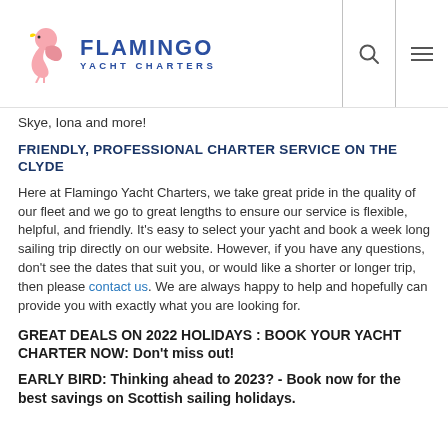FLAMINGO YACHT CHARTERS
Skye, Iona and more!
FRIENDLY, PROFESSIONAL CHARTER SERVICE ON THE CLYDE
Here at Flamingo Yacht Charters, we take great pride in the quality of our fleet and we go to great lengths to ensure our service is flexible, helpful, and friendly. It's easy to select your yacht and book a week long sailing trip directly on our website. However, if you have any questions, don't see the dates that suit you, or would like a shorter or longer trip, then please contact us. We are always happy to help and hopefully can provide you with exactly what you are looking for.
GREAT DEALS ON 2022 HOLIDAYS : BOOK YOUR YACHT CHARTER NOW: Don't miss out!
EARLY BIRD: Thinking ahead to 2023? - Book now for the best savings on Scottish sailing holidays.